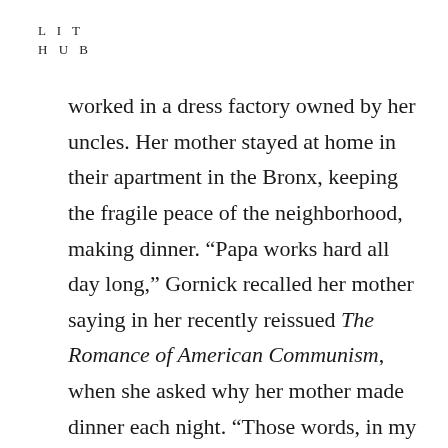LIT
HUB
worked in a dress factory owned by her uncles. Her mother stayed at home in their apartment in the Bronx, keeping the fragile peace of the neighborhood, making dinner. “Papa works hard all day long,” Gornick recalled her mother saying in her recently reissued The Romance of American Communism, when she asked why her mother made dinner each night. “Those words, in my mother’s mouth, spoke volumes, and